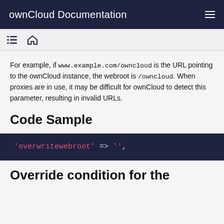ownCloud Documentation
For example, if www.example.com/owncloud is the URL pointing to the ownCloud instance, the webroot is /owncloud. When proxies are in use, it may be difficult for ownCloud to detect this parameter, resulting in invalid URLs.
Code Sample
'overwritewebroot' => '',
Override condition for the